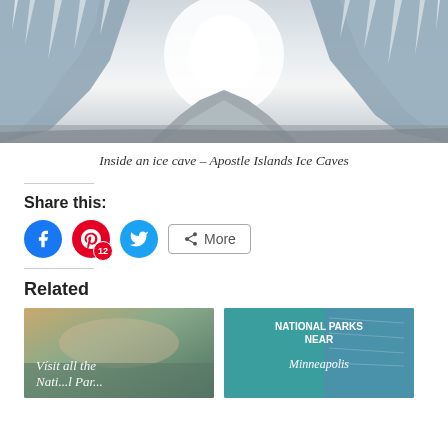[Figure (photo): Interior of an ice cave at Apostle Islands Ice Caves, showing large icicles and frozen walls with bright light in the background]
Inside an ice cave – Apostle Islands Ice Caves
Share this:
[Figure (infographic): Social share buttons: Facebook (blue circle), Pinterest (red circle with 12 badge), Twitter (cyan circle), and a More button]
Related
[Figure (photo): Related article thumbnail: Visit all the National Parks (cursive text over lake/sunset scene)]
[Figure (photo): Related article thumbnail: National Parks Near Minneapolis (teal background with map and cursive text)]